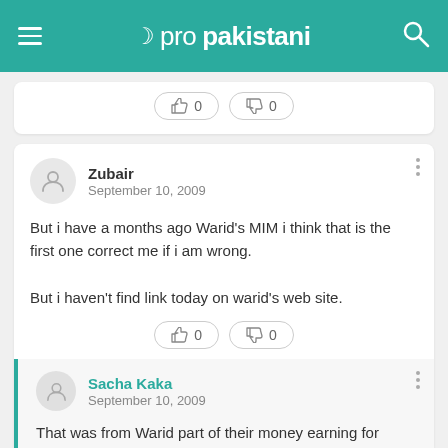propakistani
[Figure (other): Like/dislike reaction buttons showing 0 and 0]
Zubair
September 10, 2009

But i have a months ago Warid's MIM i think that is the first one correct me if i am wrong.

But i haven't find link today on warid's web site.
[Figure (other): Like/dislike reaction buttons showing 0 and 0]
Sacha Kaka
September 10, 2009

That was from Warid part of their money earning for